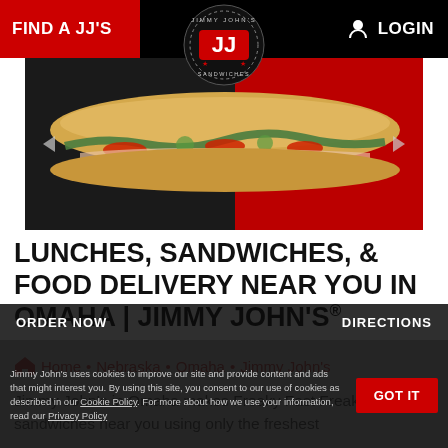FIND A JJ'S    LOGIN
[Figure (logo): Jimmy John's circular logo with JJ initials and stars, black circle with red/white text]
[Figure (photo): Hero image of a Jimmy John's sandwich on dark black and red background]
LUNCHES, SANDWICHES, & FOOD DELIVERY NEAR YOU IN OMAHA | JIMMY JOHN'S®
Home • Nebraska • Omaha • Jimmy John's
Jimmy John's in Omaha makes Freaky Fast Freaky Fresh® sandwiches near you using only the freshest ingredients. Shop now for delivery or pick up from one of our locations.
Jimmy John's uses cookies to improve our site and provide content and ads that might interest you. By using this site, you consent to our use of cookies as described in our Cookie Policy. For more about how we use your information, read our Privacy Policy
GOT IT